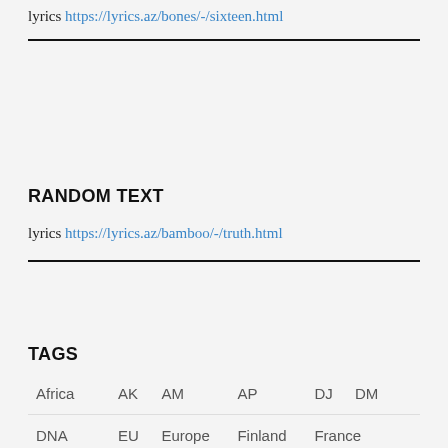lyrics https://lyrics.az/bones/-/sixteen.html
RANDOM TEXT
lyrics https://lyrics.az/bamboo/-/truth.html
TAGS
| Africa | AK | AM | AP | DJ | DM |
| DNA | EU | Europe | Finland | France |  |
| Georgia | Gucci Mane | Jesus Christ | Jordan |  |  |